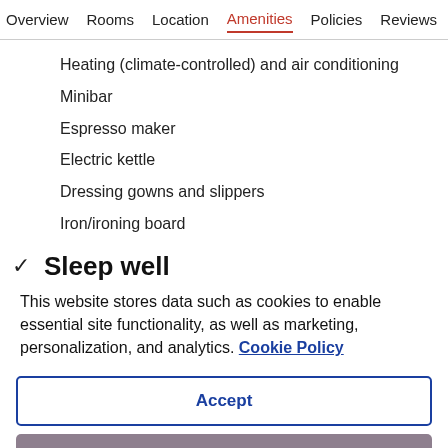Overview  Rooms  Location  Amenities  Policies  Reviews
Heating (climate-controlled) and air conditioning
Minibar
Espresso maker
Electric kettle
Dressing gowns and slippers
Iron/ironing board
Sleep well
This website stores data such as cookies to enable essential site functionality, as well as marketing, personalization, and analytics. Cookie Policy
Accept
Deny